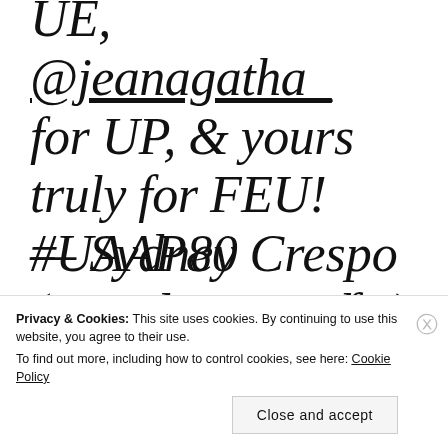UE, @jeanagatha_ for UP, & yours truly for FEU! #UAAP80 pic.twitter.com/fKwDInT4YF
— Sydney Crespo (@SydneyCrespo)
Privacy & Cookies: This site uses cookies. By continuing to use this website, you agree to their use. To find out more, including how to control cookies, see here: Cookie Policy